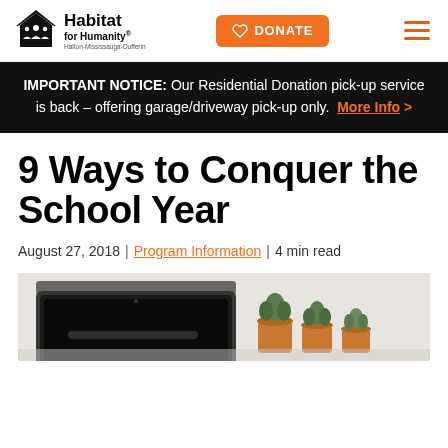Habitat for Humanity Halton-Mississauga-Dufferin — DONATE — Menu
IMPORTANT NOTICE: Our Residential Donation pick-up service is back – offering garage/driveway pick-up only. More Info >
9 Ways to Conquer the School Year
August 27, 2018 | Program Information | 4 min read
[Figure (photo): Photo of a laptop with a dark screen and small potted succulent plants in terracotta pots in the background, on a white surface.]